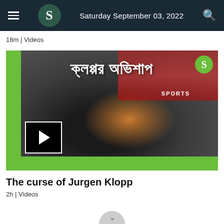Saturday September 03, 2022
18m | Videos
[Figure (screenshot): Video thumbnail showing a man (Jurgen Klopp) in a black Liverpool FC jacket holding his hands near his ears. Bengali text overlay reads 'ক্লপ্পর অভিশাপ' with a SPORTS label and logo badge. A play button is shown in the bottom-left of the thumbnail.]
The curse of Jurgen Klopp
2h | Videos